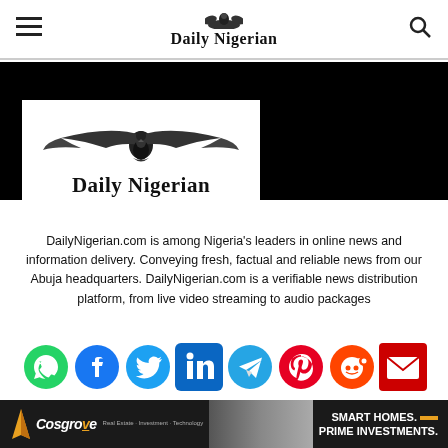Daily Nigerian — navigation header with menu and search icons
[Figure (logo): Daily Nigerian eagle logo with blackletter masthead text inside white box on black background]
DailyNigerian.com is among Nigeria's leaders in online news and information delivery. Conveying fresh, factual and reliable news from our Abuja headquarters. DailyNigerian.com is a verifiable news distribution platform, from live video streaming to audio packages
[Figure (infographic): Social media share icons: WhatsApp, Facebook, Twitter, LinkedIn, Telegram, Pinterest, Reddit, Email]
[Figure (photo): Cosgrove Real Estate advertisement banner: Smart Homes. Prime Investments.]